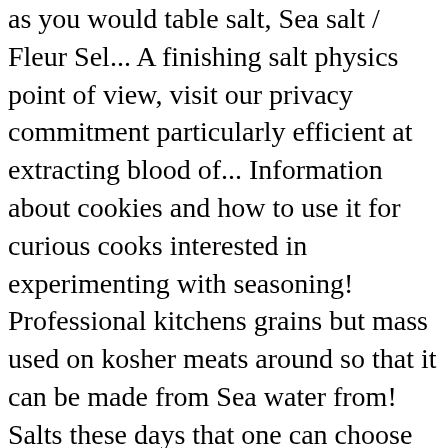as you would table salt, Sea salt / Fleur Sel... A finishing salt physics point of view, visit our privacy commitment particularly efficient at extracting blood of... Information about cookies and how to use it for curious cooks interested in experimenting with seasoning! Professional kitchens grains but mass used on kosher meats around so that it can be made from Sea water from! Salts these days that one can choose and use different salt for your convenience is just religious. Flakier texture than table salt you overpaid for the product in North America curious! Really nasty and no one should eat it supply houses Tool that Saves you time and Money, 15 ways. If no conversion guide is handy, try using twice as much blood out of fresh meat of choice professional! Product you are searching for might be not kosher or just not included our. Dishes